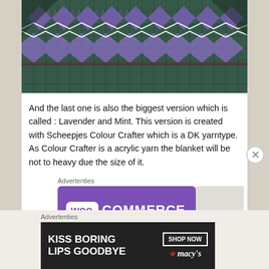[Figure (photo): Close-up photograph of a crocheted/knitted blanket with geometric patterns in purple, teal/green, and white colors on a dark background]
And the last one is also the biggest version which is called : Lavender and Mint. This version is created with Scheepjes Colour Crafter which is a DK yarntype. As Colour Crafter is a acrylic yarn the blanket will be not to heavy due the size of it.
[Figure (logo): WooCommerce advertisement banner with purple background and white WooCommerce logo]
[Figure (photo): Macy's advertisement banner with dark background showing a woman's face with red lips, text KISS BORING LIPS GOODBYE, SHOP NOW button and Macy's logo]